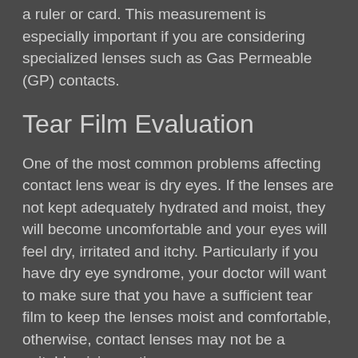a ruler or card. This measurement is especially important if you are considering specialized lenses such as Gas Permeable (GP) contacts.
Tear Film Evaluation
One of the most common problems affecting contact lens wear is dry eyes. If the lenses are not kept adequately hydrated and moist, they will become uncomfortable and your eyes will feel dry, irritated and itchy. Particularly if you have dry eye syndrome, your doctor will want to make sure that you have a sufficient tear film to keep the lenses moist and comfortable, otherwise, contact lenses may not be a suitable vision option.